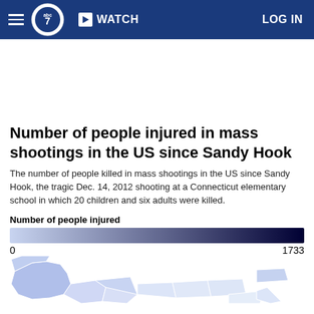ABC7 WATCH LOG IN navigation bar
Number of people injured in mass shootings in the US since Sandy Hook
The number of people killed in mass shootings in the US since Sandy Hook, the tragic Dec. 14, 2012 shooting at a Connecticut elementary school in which 20 children and six adults were killed.
Number of people injured
[Figure (map): Color gradient legend bar from light blue (0) to dark navy (1733) representing number of people injured, with a partial US map visible at the bottom showing states shaded in varying intensities of blue.]